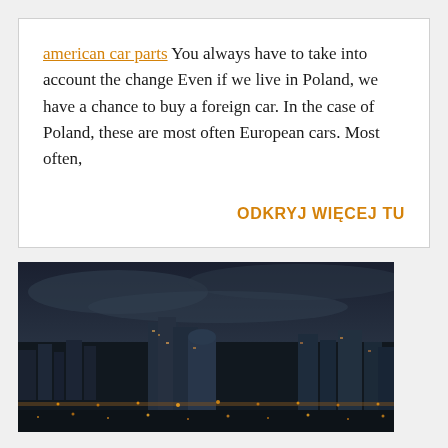american car parts You always have to take into account the change Even if we live in Poland, we have a chance to buy a foreign car. In the case of Poland, these are most often European cars. Most often,
ODKRYJ WIĘCEJ TU
[Figure (photo): Aerial night cityscape photo showing a dense city with glowing lights and dark overcast sky, viewed from above]